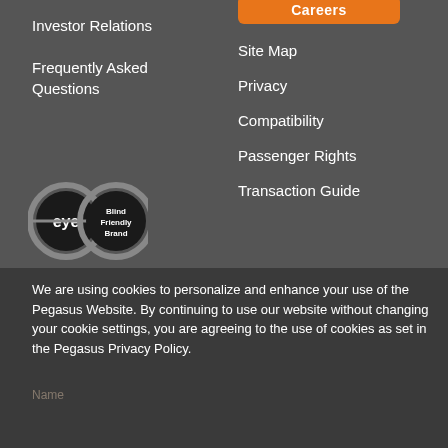Careers
Investor Relations
Frequently Asked Questions
Site Map
Privacy
Compatibility
Passenger Rights
Transaction Guide
[Figure (logo): Eye and Blind Friendly Brand circular logos]
We are using cookies to personalize and enhance your use of the Pegasus Website. By continuing to use our website without changing your cookie settings, you are agreeing to the use of cookies as set in the Pegasus Privacy Policy.
Sign up for our e-mails so you can be the first to hear about the latest...
Name
Last Name
Change Settings
I Agree